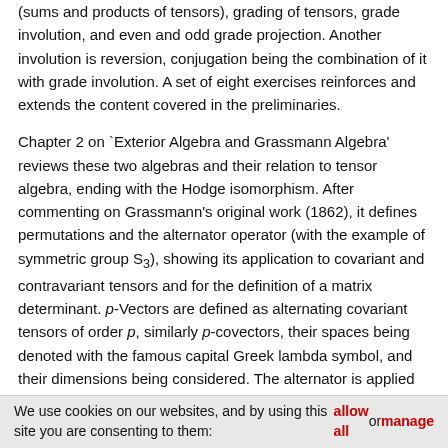(sums and products of tensors), grading of tensors, grade involution, and even and odd grade projection. Another involution is reversion, conjugation being the combination of it with grade involution. A set of eight exercises reinforces and extends the content covered in the preliminaries.
Chapter 2 on 'Exterior Algebra and Grassmann Algebra' reviews these two algebras and their relation to tensor algebra, ending with the Hodge isomorphism. After commenting on Grassmann's original work (1862), it defines permutations and the alternator operator (with the example of symmetric group S3), showing its application to covariant and contravariant tensors and for the definition of a matrix determinant. p-Vectors are defined as alternating covariant tensors of order p, similarly p-covectors, their spaces being denoted with the famous capital Greek lambda symbol, and their dimensions being considered. The alternator is applied to define (Definition 2.1) and study the exterior product of p-vectors. A variety of definitions and more advanced literature on the subject are given as 'Observation' (p. 27). Then notions of the basis for p-vector spaces, the notational sum convention and maximum dimension n-vectors (pseudoscalars) are introduced. The combination of the direct sum of all p-vector spaces with the exterior product leads to exterior algebras (Definition 2.2) for both vectors and covectors. Examples in three and four dimensions and as an application to solving a linear system of equations are given. It is observed that the exterior algebra can be obtained as a
We use cookies on our websites, and by using this site you are consenting to them: allow all or manage